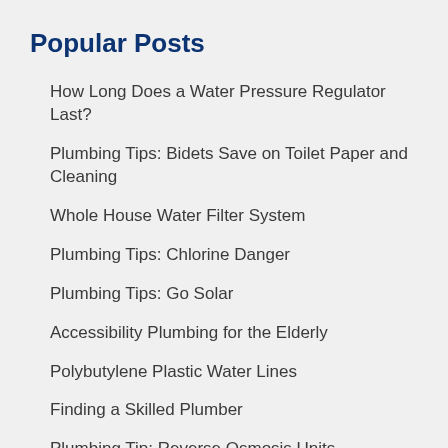Popular Posts
How Long Does a Water Pressure Regulator Last?
Plumbing Tips: Bidets Save on Toilet Paper and Cleaning
Whole House Water Filter System
Plumbing Tips: Chlorine Danger
Plumbing Tips: Go Solar
Accessibility Plumbing for the Elderly
Polybutylene Plastic Water Lines
Finding a Skilled Plumber
Plumbing Tip: Reverse Osmosis Units
Behind the Scenes of the Plumbing World